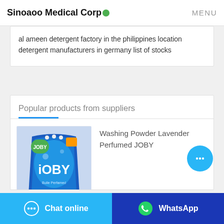Sinoaoo Medical Corp  MENU
al ameen detergent factory in the philippines location detergent manufacturers in germany list of stocks
Popular products from suppliers
[Figure (photo): Product image of JOBY washing powder lavender perfumed bag, blue packaging with lavender graphics]
Washing Powder Lavender Perfumed JOBY
Chat online   WhatsApp